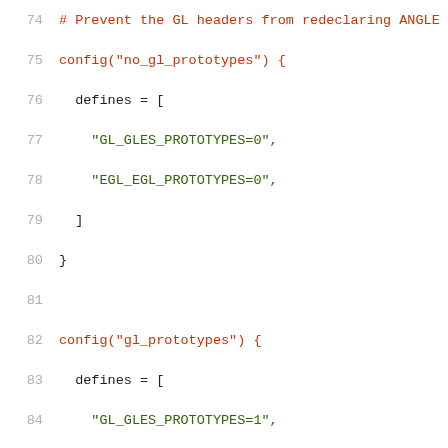74  # Prevent the GL headers from redeclaring ANGLE
75  config("no_gl_prototypes") {
76    defines = [
77      "GL_GLES_PROTOTYPES=0",
78      "EGL_EGL_PROTOTYPES=0",
79    ]
80  }
81
82  config("gl_prototypes") {
83    defines = [
84      "GL_GLES_PROTOTYPES=1",
85      "EGL_EGL_PROTOTYPES=1",
86      "GL_GLEXT_PROTOTYPES",
87      "EGL_EGLEXT_PROTOTYPES",
88    ]
89  }
90
91  # This config is applied to internal Angle targ
92  config("internal_config") {
93    include_dirs = [
94      "include",
95      "src"